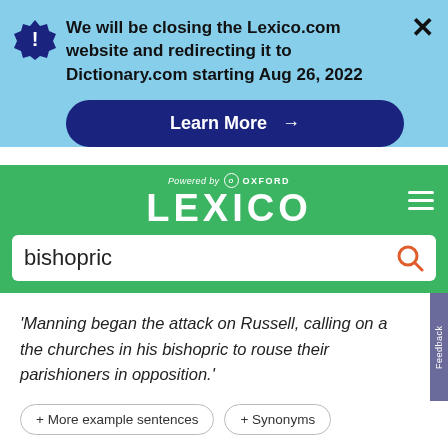We will be closing the Lexico.com website and redirecting it to Dictionary.com starting Aug 26, 2022
Learn More →
[Figure (logo): Lexico powered by Oxford logo on green background]
bishopric
'Manning began the attack on Russell, calling on all the churches in his bishopric to rouse their parishioners in opposition.'
+ More example sentences
+ Synonyms